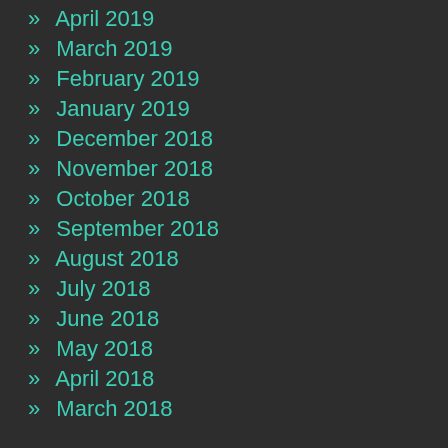» April 2019
» March 2019
» February 2019
» January 2019
» December 2018
» November 2018
» October 2018
» September 2018
» August 2018
» July 2018
» June 2018
» May 2018
» April 2018
» March 2018